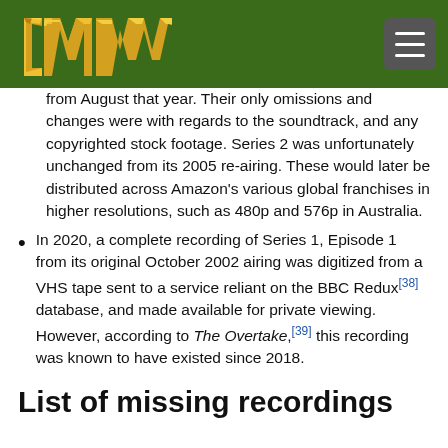LMW logo and navigation menu
from August that year. Their only omissions and changes were with regards to the soundtrack, and any copyrighted stock footage. Series 2 was unfortunately unchanged from its 2005 re-airing. These would later be distributed across Amazon's various global franchises in higher resolutions, such as 480p and 576p in Australia.
In 2020, a complete recording of Series 1, Episode 1 from its original October 2002 airing was digitized from a VHS tape sent to a service reliant on the BBC Redux[38] database, and made available for private viewing. However, according to The Overtake,[39] this recording was known to have existed since 2018.
List of missing recordings